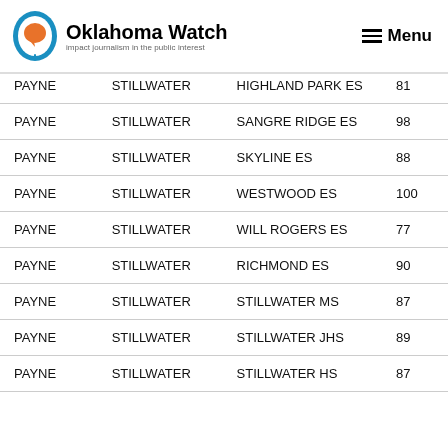Oklahoma Watch — Menu
| PAYNE | STILLWATER | HIGHLAND PARK ES | 81 |
| PAYNE | STILLWATER | SANGRE RIDGE ES | 98 |
| PAYNE | STILLWATER | SKYLINE ES | 88 |
| PAYNE | STILLWATER | WESTWOOD ES | 100 |
| PAYNE | STILLWATER | WILL ROGERS ES | 77 |
| PAYNE | STILLWATER | RICHMOND ES | 90 |
| PAYNE | STILLWATER | STILLWATER MS | 87 |
| PAYNE | STILLWATER | STILLWATER JHS | 89 |
| PAYNE | STILLWATER | STILLWATER HS | 87 |